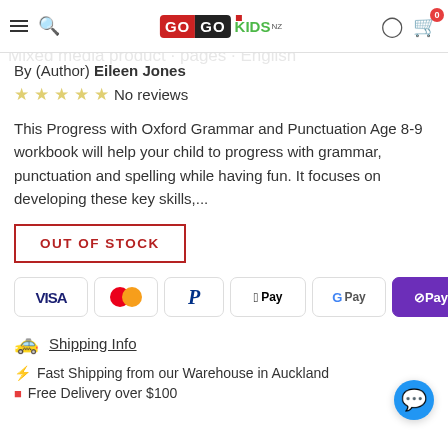GoGoKids NZ — navigation header with logo, search, and cart
and Spelling Age 8-9
Mixed media product · pages · English
By (Author) Eileen Jones
☆☆☆☆☆ No reviews
This Progress with Oxford Grammar and Punctuation Age 8-9 workbook will help your child to progress with grammar, punctuation and spelling while having fun. It focuses on developing these key skills,...
OUT OF STOCK
[Figure (other): Payment method icons: VISA, Mastercard, PayPal, Apple Pay, Google Pay, OPay]
🚌 Shipping Info
⚡ Fast Shipping from our Warehouse in Auckland
🟥 Free Delivery over $100